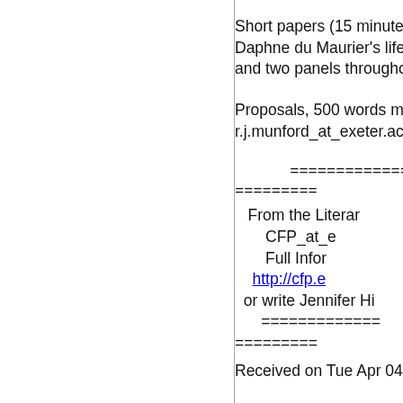Short papers (15 minute... Daphne du Maurier's life... and two panels througho...
Proposals, 500 words ma... r.j.munford_at_exeter.ac....
========================= =========
From the Literar... CFP_at_e... Full Infor... http://cfp.e... or write Jennifer Hi... ========================= =========
Received on Tue Apr 04 2...